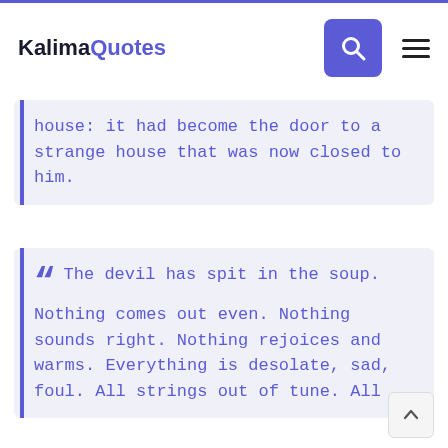KalimaQuotes
house: it had become the door to a strange house that was now closed to him.
The devil has spit in the soup. Nothing comes out even. Nothing sounds right. Nothing rejoices and warms. Everything is desolate, sad, foul. All strings out of tune. All